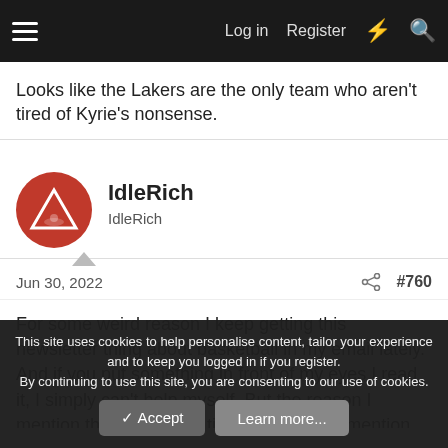Log in  Register
Looks like the Lakers are the only team who aren't tired of Kyrie's nonsense.
IdleRich
IdleRich
Jun 30, 2022  #760
For some weird reason I keep getting this newsletter thing about basketball in my email lately. And if you put something in front of my eyes I read it, I simply can't help myself. But the reason I mention this is cos, this time around they mention something that I wondered about but didn't mention cos I thought it might make me look stupid. But obviously there is no chance on earth
This site uses cookies to help personalise content, tailor your experience and to keep you logged in if you register.
By continuing to use this site, you are consenting to our use of cookies.